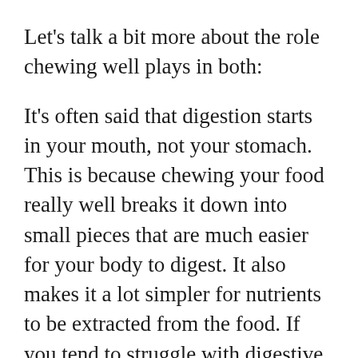Let's talk a bit more about the role chewing well plays in both:
It's often said that digestion starts in your mouth, not your stomach. This is because chewing your food really well breaks it down into small pieces that are much easier for your body to digest. It also makes it a lot simpler for nutrients to be extracted from the food. If you tend to struggle with digestive issues, chewing your food well could help with this.
Chewing your food well also helps to feel fuller. A lot of f